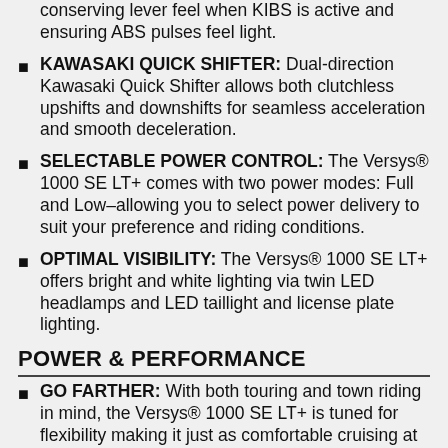conserving lever feel when KIBS is active and ensuring ABS pulses feel light.
KAWASAKI QUICK SHIFTER: Dual-direction Kawasaki Quick Shifter allows both clutchless upshifts and downshifts for seamless acceleration and smooth deceleration.
SELECTABLE POWER CONTROL: The Versys® 1000 SE LT+ comes with two power modes: Full and Low–allowing you to select power delivery to suit your preference and riding conditions.
OPTIMAL VISIBILITY: The Versys® 1000 SE LT+ offers bright and white lighting via twin LED headlamps and LED taillight and license plate lighting.
POWER & PERFORMANCE
GO FARTHER: With both touring and town riding in mind, the Versys® 1000 SE LT+ is tuned for flexibility making it just as comfortable cruising at low rpm as it is when ridden on winding roads in the mid- to high-rpm range.